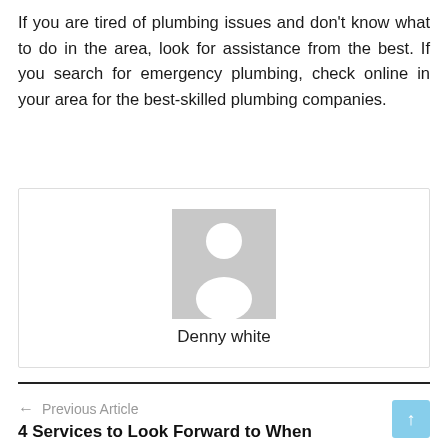If you are tired of plumbing issues and don't know what to do in the area, look for assistance from the best. If you search for emergency plumbing, check online in your area for the best-skilled plumbing companies.
[Figure (illustration): Author avatar placeholder — grey silhouette of a person on grey background, with author name 'Denny white' below]
Denny white
← Previous Article
4 Services to Look Forward to When